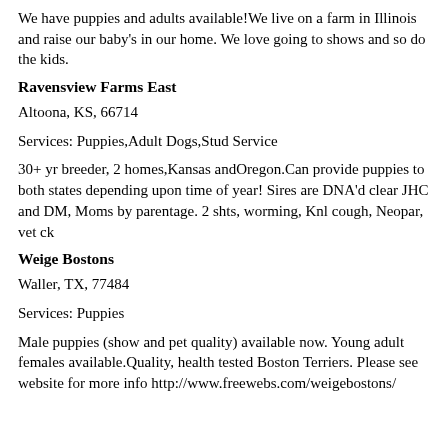We have puppies and adults available!We live on a farm in Illinois and raise our baby's in our home. We love going to shows and so do the kids.
Ravensview Farms East
Altoona, KS, 66714
Services: Puppies,Adult Dogs,Stud Service
30+ yr breeder, 2 homes,Kansas andOregon.Can provide puppies to both states depending upon time of year! Sires are DNA'd clear JHC and DM, Moms by parentage. 2 shts, worming, Knl cough, Neopar, vet ck
Weige Bostons
Waller, TX, 77484
Services: Puppies
Male puppies (show and pet quality) available now. Young adult females available.Quality, health tested Boston Terriers. Please see website for more info http://www.freewebs.com/weigebostons/